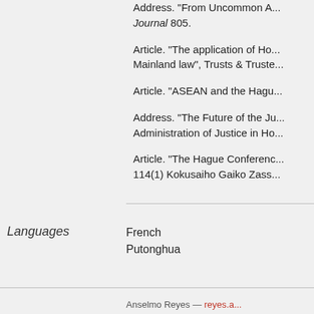Address. "From Uncommon A... Journal 805.
Article. "The application of Ho... Mainland law", Trusts & Truste...
Article. "ASEAN and the Hagu...
Address. "The Future of the Ju... Administration of Justice in Ho...
Article. "The Hague Conferenc... 114(1) Kokusaiho Gaiko Zass...
Languages
French
Putonghua
Anselmo Reyes — reyes.a...